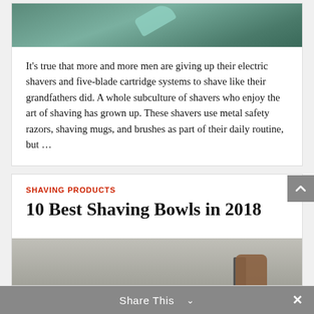[Figure (photo): Top portion of a shaving-related photo showing a razor or shaving tool on a tiled surface with teal/green tones]
It's true that more and more men are giving up their electric shavers and five-blade cartridge systems to shave like their grandfathers did. A whole subculture of shavers who enjoy the art of shaving has grown up. These shavers use metal safety razors, shaving mugs, and brushes as part of their daily routine, but …
SHAVING PRODUCTS
10 Best Shaving Bowls in 2018
[Figure (photo): Bottom portion of a photo showing a razor and a brown boot/shoe on a gray surface, viewed from above]
Share This ∨  ✕